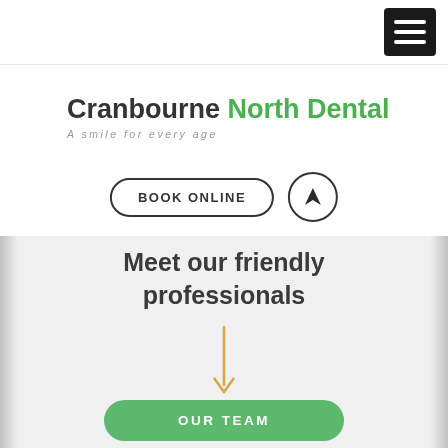[Figure (logo): Cranbourne North Dental logo with orange tooth icon and green/dark text, tagline 'A smile for every age']
BOOK ONLINE
Meet our friendly professionals
OUR TEAM